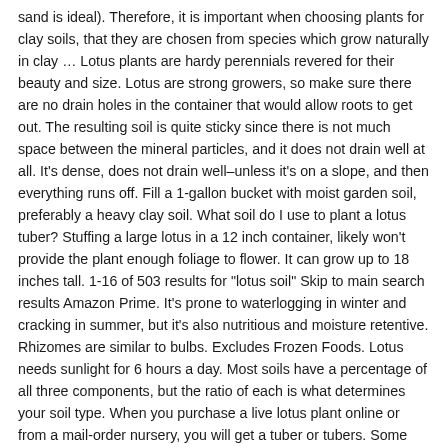sand is ideal). Therefore, it is important when choosing plants for clay soils, that they are chosen from species which grow naturally in clay … Lotus plants are hardy perennials revered for their beauty and size. Lotus are strong growers, so make sure there are no drain holes in the container that would allow roots to get out. The resulting soil is quite sticky since there is not much space between the mineral particles, and it does not drain well at all. It's dense, does not drain well–unless it's on a slope, and then everything runs off. Fill a 1-gallon bucket with moist garden soil, preferably a heavy clay soil. What soil do I use to plant a lotus tuber? Stuffing a large lotus in a 12 inch container, likely won't provide the plant enough foliage to flower. It can grow up to 18 inches tall. 1-16 of 503 results for "lotus soil" Skip to main search results Amazon Prime. It's prone to waterlogging in winter and cracking in summer, but it's also nutritious and moisture retentive. Rhizomes are similar to bulbs. Excludes Frozen Foods. Lotus needs sunlight for 6 hours a day. Most soils have a percentage of all three components, but the ratio of each is what determines your soil type. When you purchase a live lotus plant online or from a mail-order nursery, you will get a tuber or tubers. Some people also eat them. Clay is the smallest soil particle and sand is the largest, with silt being in between the two. Gently place tuber on top of soil, taking care not to damage the new shoots. Copyright © 2020, LiveAquaria®. Growing Plants in Clay Soil. This topsoil can be purchased in bags at a garden center or dug from your pond bottom or yard. Then I'll show you what to do to to … The best time to apply the lotus plant tubers in the container is spring. Your patronage and patience during these unprecedented